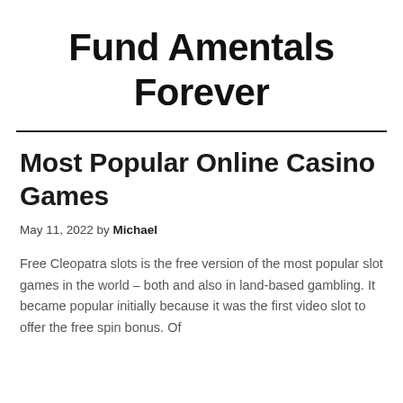Fund Amentals Forever
Most Popular Online Casino Games
May 11, 2022 by Michael
Free Cleopatra slots is the free version of the most popular slot games in the world – both and also in land-based gambling. It became popular initially because it was the first video slot to offer the free spin bonus. Of